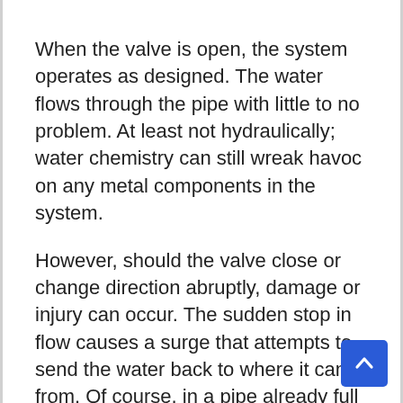When the valve is open, the system operates as designed. The water flows through the pipe with little to no problem. At least not hydraulically; water chemistry can still wreak havoc on any metal components in the system.
However, should the valve close or change direction abruptly, damage or injury can occur. The sudden stop in flow causes a surge that attempts to send the water back to where it came from. Of course, in a pipe already full of water and under pressure, this can be challenging. So, the water gets